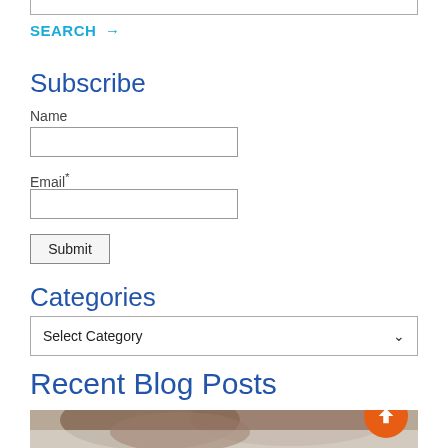SEARCH →
Subscribe
Name
Email*
Submit
Categories
Select Category
Recent Blog Posts
[Figure (photo): A person lying on white bedding, photographed from above showing their hair and back of head.]